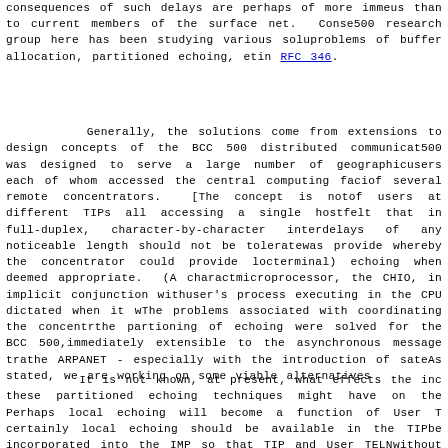consequences of such delays are perhaps of more immediate concern to us than to current members of the surface net.  Consequently, the BCC 500 research group here has been studying various solutions to the problems of buffer allocation, partitioned echoing, etc. as described in RFC 346.
Generally, the solutions come from extensions to the basic design concepts of the BCC 500 distributed communication system.  BCC 500 was designed to serve a large number of geographically distributed users each of whom accessed the central computing facility through one of several remote concentrators.  [The concept is not unlike groups of users at different TIPs all accessing a single host.]  It was felt that in full-duplex, character-by-character interactive operation, delays of any noticeable length should not be tolerated.  A mechanism was provide whereby the concentrator could provide local (i.e., at-terminal) echoing when deemed appropriate.  (A character-handling microprocessor, the CHIO, in implicit conjunction with a flag set by user's process executing in the CPU dictated when it was appropriate.) The problems associated with coordinating the concentrator echoing and the partioning of echoing were solved for the BCC 500, but are not immediately extensible to the asynchronous message transfer environment of the ARPANET - especially with the introduction of satellite links. As stated, we are working on some viable alternatives.
It is not known, at present, what effects the introduction of these partitioned echoing techniques might have on the TIP user community. Perhaps local echoing will become a function of User TELNETs only; certainly local echoing should be available in the TIP itself.  Should it be incorporated into the IMP so that TIP and User TELNETs can operate without change?  If so, what happens to the concentrator concept of the